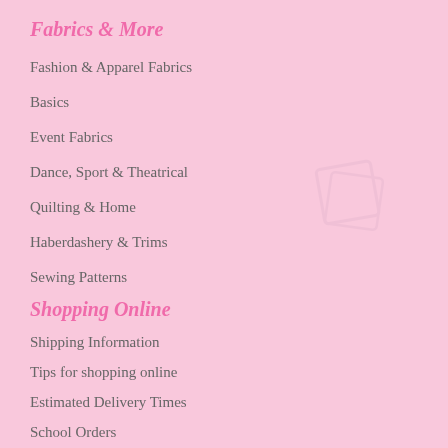Fabrics & More
Fashion & Apparel Fabrics
Basics
Event Fabrics
Dance, Sport & Theatrical
Quilting & Home
Haberdashery & Trims
Sewing Patterns
Shopping Online
Shipping Information
Tips for shopping online
Estimated Delivery Times
School Orders
Sew Now Pay Later
Returns Policy
Ordering Samples
About Us